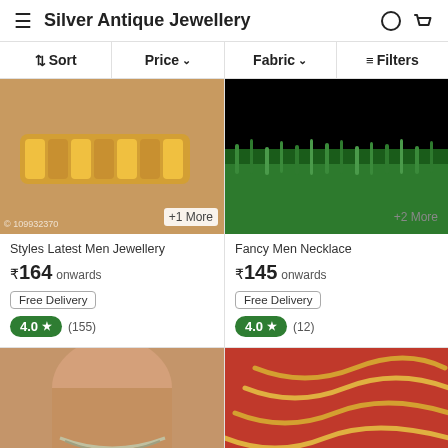Silver Antique Jewellery
↕ Sort  |  Price ∨  |  Fabric ∨  |  ≡ Filters
[Figure (photo): Gold bracelet on wrist, product card with +1 More badge]
Styles Latest Men Jewellery
₹164 onwards
Free Delivery
4.0 ★ (155)
[Figure (photo): Green grass/foliage on black background, product card with +2 More badge]
Fancy Men Necklace
₹145 onwards
Free Delivery
4.0 ★ (12)
[Figure (photo): Man wearing silver chain necklace, partial bottom card]
[Figure (photo): Gold snake chain on red background, partial bottom card]